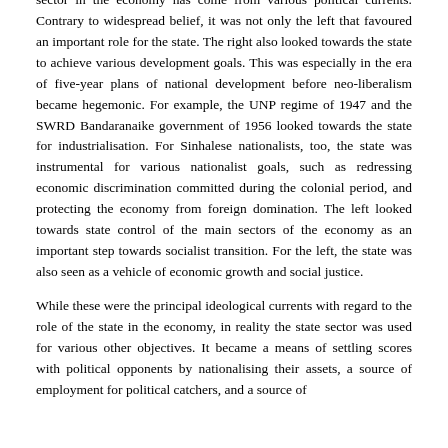sector in the economy has come from various political currents. Contrary to widespread belief, it was not only the left that favoured an important role for the state. The right also looked towards the state to achieve various development goals. This was especially in the era of five-year plans of national development before neo-liberalism became hegemonic. For example, the UNP regime of 1947 and the SWRD Bandaranaike government of 1956 looked towards the state for industrialisation. For Sinhalese nationalists, too, the state was instrumental for various nationalist goals, such as redressing economic discrimination committed during the colonial period, and protecting the economy from foreign domination. The left looked towards state control of the main sectors of the economy as an important step towards socialist transition. For the left, the state was also seen as a vehicle of economic growth and social justice.
While these were the principal ideological currents with regard to the role of the state in the economy, in reality the state sector was used for various other objectives. It became a means of settling scores with political opponents by nationalising their assets, a source of employment for political catchers, and a source of